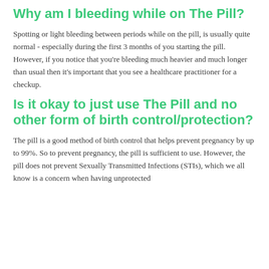Why am I bleeding while on The Pill?
Spotting or light bleeding between periods while on the pill, is usually quite normal - especially during the first 3 months of you starting the pill. However, if you notice that you're bleeding much heavier and much longer than usual then it's important that you see a healthcare practitioner for a checkup.
Is it okay to just use The Pill and no other form of birth control/protection?
The pill is a good method of birth control that helps prevent pregnancy by up to 99%. So to prevent pregnancy, the pill is sufficient to use. However, the pill does not prevent Sexually Transmitted Infections (STIs), which we all know is a concern when having unprotected